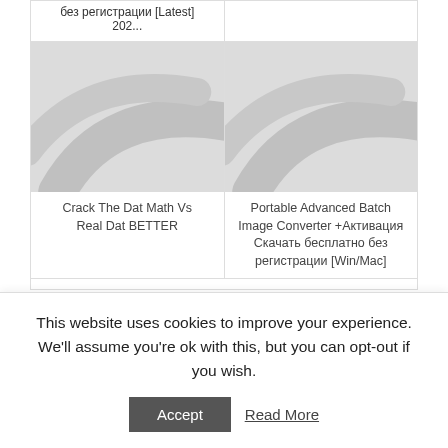без регистрации [Latest] 202...
[Figure (illustration): Placeholder image with diagonal swoosh pattern, grey tones]
Crack The Dat Math Vs Real Dat BETTER
[Figure (illustration): Placeholder image with diagonal swoosh pattern, grey tones]
Portable Advanced Batch Image Converter +Активация Скачать бесплатно без регистрации [Win/Mac]
LEAVE A REPLY
This website uses cookies to improve your experience. We'll assume you're ok with this, but you can opt-out if you wish.